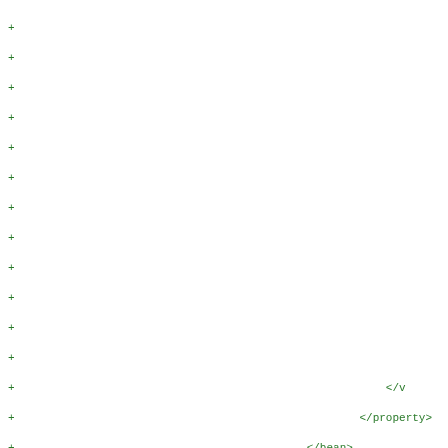Diff/code listing showing XML bean configuration with green + markers and XML code including </v, </property>, </bean>, </list>, </property>, </bean>, <bean name="applSIG_invalid" parent="applSI, <property name="files">, <list>, <ref bean="EF_INFO", <bean parent="EF_C_, <property n, <va